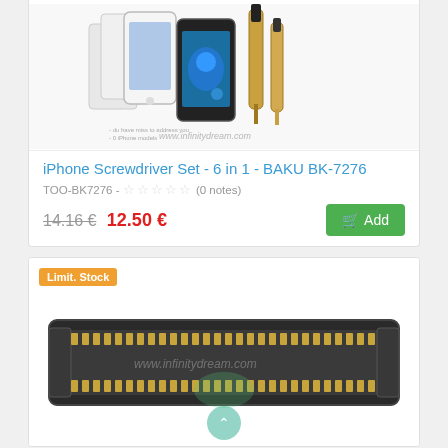[Figure (photo): Product photo of iPhone Screwdriver Set with phones, screen protectors and tools visible, watermarked www.infinitydream.com]
iPhone Screwdriver Set - 6 in 1 - BAKU BK-7276
TOO-BK7276 - ☆☆☆☆☆ (0 notes)
14.16 €  12.50 €  [Add button]
[Figure (photo): Electronic connector component (FPC/FFC flat connector) shown on white background, watermarked www.infinitydream.com. Orange 'Limit. Stock' badge in top left corner.]